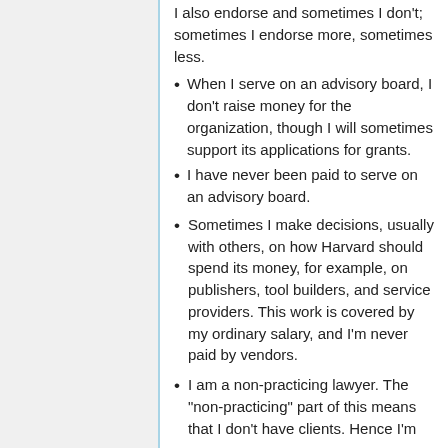I also endorse and sometimes I don't; sometimes I endorse more, sometimes less.
When I serve on an advisory board, I don't raise money for the organization, though I will sometimes support its applications for grants.
I have never been paid to serve on an advisory board.
Sometimes I make decisions, usually with others, on how Harvard should spend its money, for example, on publishers, tool builders, and service providers. This work is covered by my ordinary salary, and I'm never paid by vendors.
I am a non-practicing lawyer. The "non-practicing" part of this means that I don't have clients. Hence I'm